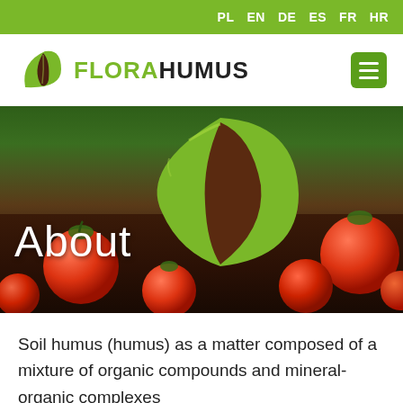PL EN DE ES FR HR
[Figure (logo): FloraHumus logo with green and brown leaf icon and text FLORAHUMUS]
[Figure (photo): Hero banner photo showing red tomatoes on dark soil with a large green and brown leaf overlay and the word 'About' in white text]
Soil humus (humus) as a matter composed of a mixture of organic compounds and mineral-organic complexes